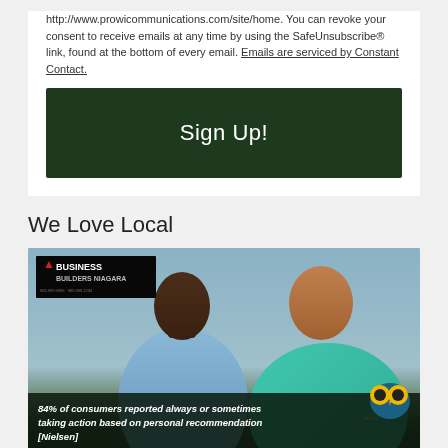http://www.prowicommunications.com/site/home. You can revoke your consent to receive emails at any time by using the SafeUnsubscribe® link, found at the bottom of every email. Emails are serviced by Constant Contact.
Sign Up!
We Love Local
[Figure (photo): Two men talking in a business setting, with a Business Builders Niagara logo overlay and a stat bar reading: 84% of consumers reported always or sometimes taking action based on personal recommendation [Nielsen]]